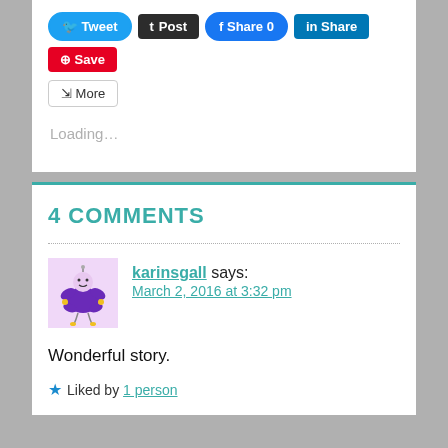[Figure (screenshot): Social sharing buttons: Tweet (Twitter, blue), Post (Tumblr, black), Share 0 (Facebook, blue), Share (LinkedIn, blue), Save (Pinterest, red), and a More button with share icon]
Loading...
4 COMMENTS
[Figure (illustration): Avatar image of karinsgall: cartoon purple flower-like character with a face and yellow accents on pink/lavender background]
karinsgall says:
March 2, 2016 at 3:32 pm
Wonderful story.
Liked by 1 person